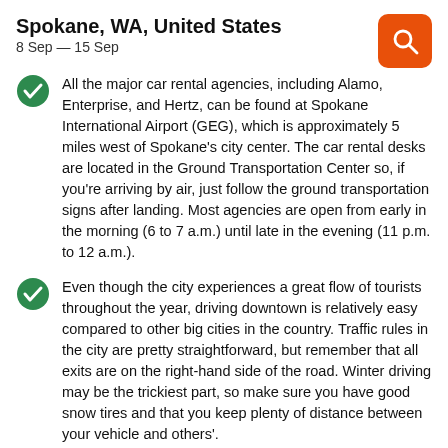Spokane, WA, United States
8 Sep — 15 Sep
All the major car rental agencies, including Alamo, Enterprise, and Hertz, can be found at Spokane International Airport (GEG), which is approximately 5 miles west of Spokane's city center. The car rental desks are located in the Ground Transportation Center so, if you're arriving by air, just follow the ground transportation signs after landing. Most agencies are open from early in the morning (6 to 7 a.m.) until late in the evening (11 p.m. to 12 a.m.).
Even though the city experiences a great flow of tourists throughout the year, driving downtown is relatively easy compared to other big cities in the country. Traffic rules in the city are pretty straightforward, but remember that all exits are on the right-hand side of the road. Winter driving may be the trickiest part, so make sure you have good snow tires and that you keep plenty of distance between your vehicle and others'.
Traffic in Spokane generally flows nicely all throughout the day, but driving during rush hour can add extra time to your travels. Avoid driving into the city or to the airport between 6 and 9